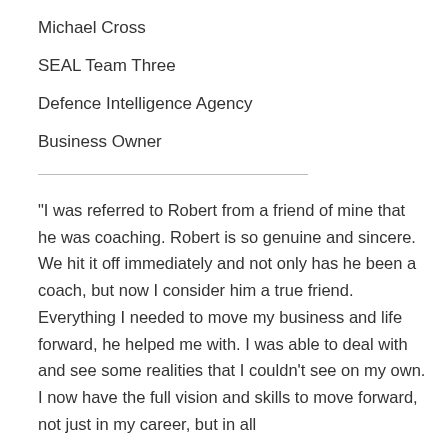Michael Cross
SEAL Team Three
Defence Intelligence Agency
Business Owner
"I was referred to Robert from a friend of mine that he was coaching.  Robert is so genuine and sincere.  We hit it off immediately and not only has he been a coach, but now I consider him a true friend.  Everything I needed to move my business and life forward, he helped me with.  I was able to deal with and see some realities that I couldn't see on my own.  I now have the full vision and skills to move forward, not just in my career, but in all